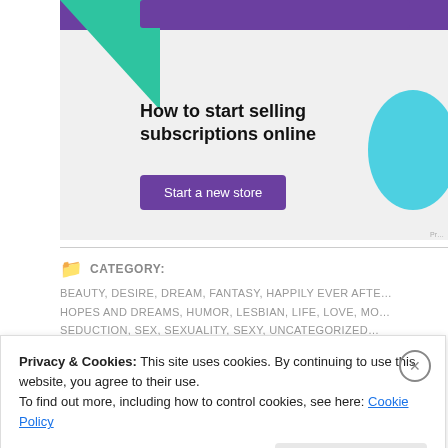[Figure (illustration): Advertisement banner with purple header, green triangle decoration, chat bubble icon, bold heading 'How to start selling subscriptions online', a purple 'Start a new store' button, and a blue circle decoration on the right.]
CATEGORY: BEAUTY, DESIRE, DREAM, FANTASY, HAPPILY EVER AFTER, HOPES AND DREAMS, HUMOR, LESBIAN, LIFE, LOVE, MORE, SEDUCTION, SEX, SEXUALITY, SEXY, UNCATEGORIZED
Privacy & Cookies: This site uses cookies. By continuing to use this website, you agree to their use. To find out more, including how to control cookies, see here: Cookie Policy
Close and accept